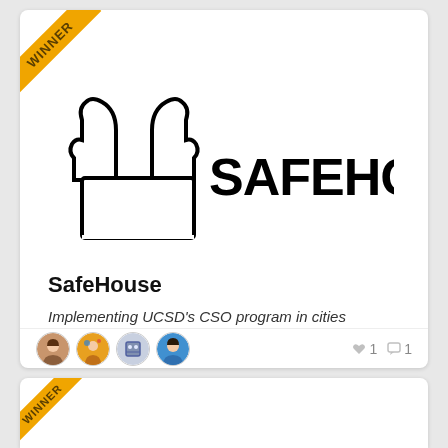[Figure (logo): SafeHouse logo: two hands forming a rooftop shape above a house outline, with the word SAFEHOUSE in bold black text to the right]
SafeHouse
Implementing UCSD's CSO program in cities
♥ 1  💬 1